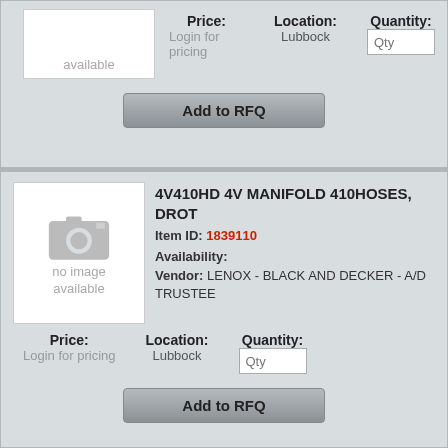[Figure (photo): No image available placeholder with camera icon]
Price: Login for pricing   Location: Lubbock   Quantity: Qty
Add to RFQ
[Figure (photo): No image available placeholder with camera icon]
4V410HD 4V MANIFOLD 410HOSES, DROT
Item ID: 1839110
Availability:
Vendor: LENOX - BLACK AND DECKER - A/D TRUSTEE
Price: Login for pricing   Location: Lubbock   Quantity: Qty
Add to RFQ